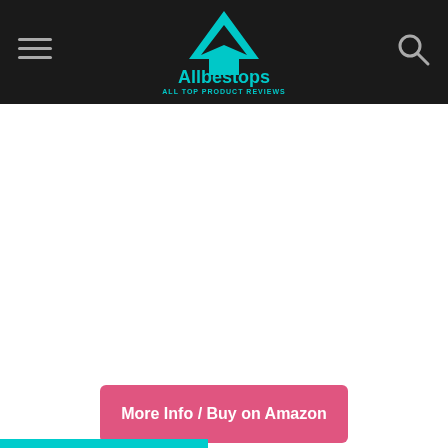Allbestops — ALL TOP PRODUCT REVIEWS
[Figure (logo): Allbestops logo with teal arrow/chevron icon and text 'Allbestops' with tagline 'ALL TOP PRODUCT REVIEWS' on dark background header bar]
More Info / Buy on Amazon